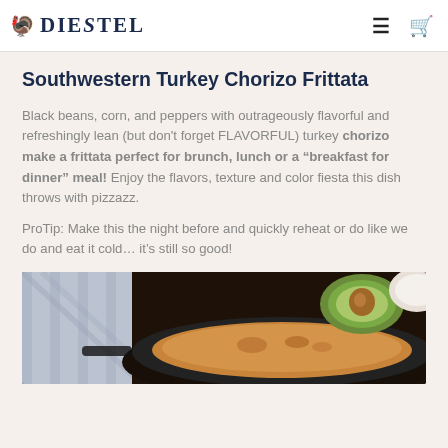DIESTEL
Southwestern Turkey Chorizo Frittata
Black beans, corn, and peppers with outrageously flavorful and refreshingly lean (but don't forget FLAVORFUL) turkey chorizo make a frittata perfect for brunch, lunch or a “breakfast for dinner” meal! Enjoy the flavors, texture and color fiesta this dish throws with pizzazz.
ProTip: Make this the night before and quickly reheat or do like we do and eat it cold… it’s still so good!
[Figure (photo): Close-up photo of a cast iron skillet with frittata and a halved avocado with pit, on a striped cloth background]